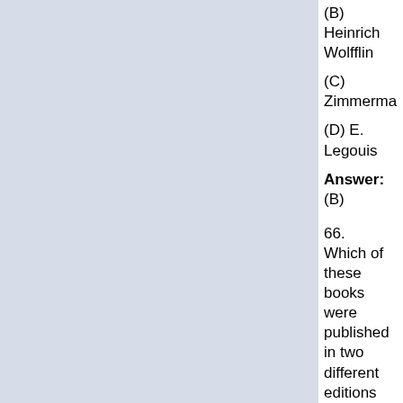(B) Heinrich Wolfflin
(C) Zimmerma
(D) E. Legouis
Answer: (B)
66. Which of these books were published in two different editions separated by many